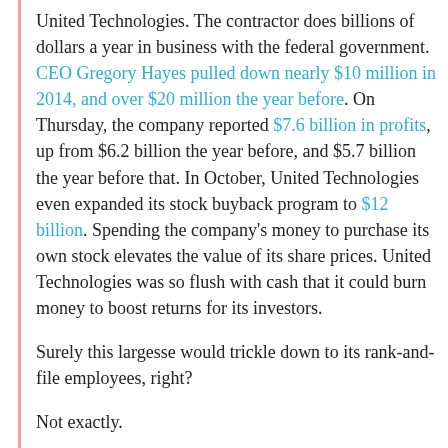United Technologies. The contractor does billions of dollars a year in business with the federal government. CEO Gregory Hayes pulled down nearly $10 million in 2014, and over $20 million the year before. On Thursday, the company reported $7.6 billion in profits, up from $6.2 billion the year before, and $5.7 billion the year before that. In October, United Technologies even expanded its stock buyback program to $12 billion. Spending the company's money to purchase its own stock elevates the value of its share prices. United Technologies was so flush with cash that it could burn money to boost returns for its investors.
Surely this largesse would trickle down to its rank-and-file employees, right?
Not exactly.